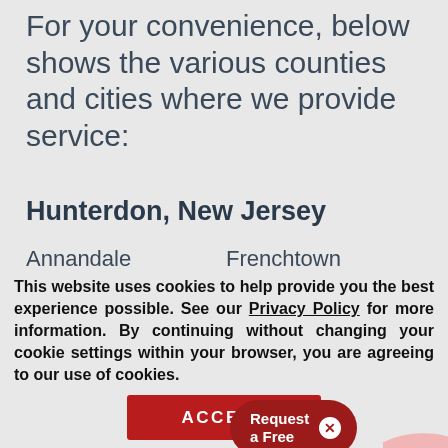For your convenience, below shows the various counties and cities where we provide service:
Hunterdon, New Jersey
Annandale
Frenchtown
Asbury
Glen Gardner
Baptistown
Hampton
Bloomsbury
High Bridge
Califon
Lamb...
This website uses cookies to help provide you the best experience possible. See our Privacy Policy for more information. By continuing without changing your cookie settings within your browser, you are agreeing to our use of cookies.
ACCEPT